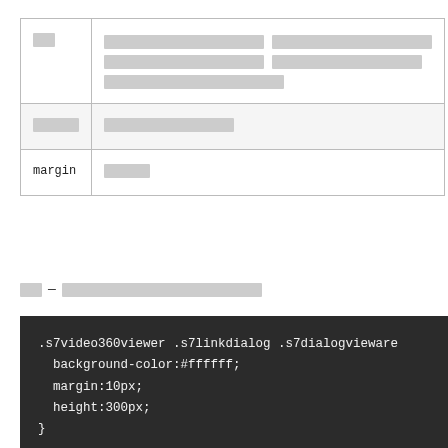| Property | Description |
| --- | --- |
| [placeholder] | [placeholder placeholder placeholder placeholder placeholder] |
| [placeholder] | [placeholder placeholder] |
| margin | [placeholder] |
[placeholder] — [placeholder]300[placeholder]10[placeholder]
[Figure (screenshot): Dark code block showing CSS: .s7video360viewer .s7linkdialog .s7dialogvieware { background-color:#ffffff; margin:10px; height:300px; }]